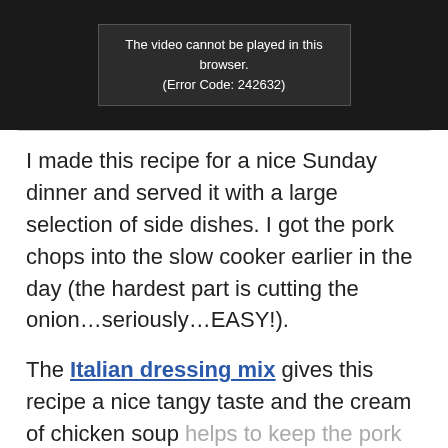[Figure (screenshot): Video player placeholder showing error message: 'The video cannot be played in this browser. (Error Code: 242632)' on a dark background.]
I made this recipe for a nice Sunday dinner and served it with a large selection of side dishes. I got the pork chops into the slow cooker earlier in the day (the hardest part is cutting the onion…seriously…EASY!).
The Italian dressing mix gives this recipe a nice tangy taste and the cream of chicken soup helps to keep the pork chops moist and tender.